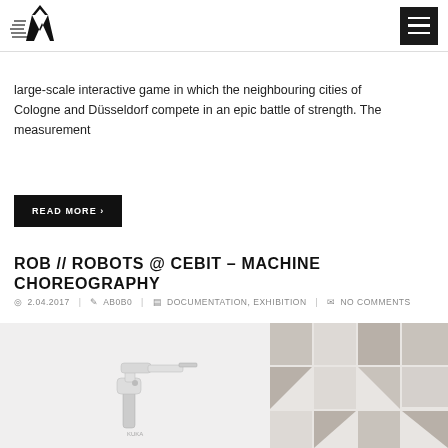[Navigation bar with logo and hamburger menu]
large-scale interactive game in which the neighbouring cities of Cologne and Düsseldorf compete in an epic battle of strength. The measurement
READ MORE ›
ROB // ROBOTS @ CEBIT – MACHINE CHOREOGRAPHY
2.04.2017   AB0B0   DOCUMENTATION, EXHIBITION   NO COMMENTS
[Figure (photo): Bottom portion of page showing a robot arm image on a light grey background on the left, and a geometric patterned design with grey squares and triangles on the right]